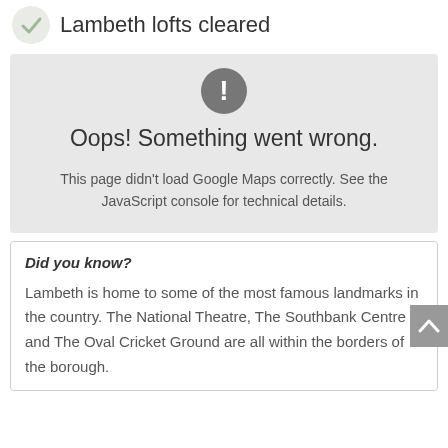Lambeth lofts cleared
[Figure (screenshot): Error box with grey background showing exclamation mark icon in dark circle, heading 'Oops! Something went wrong.' and text 'This page didn't load Google Maps correctly. See the JavaScript console for technical details.']
Did you know?
Lambeth is home to some of the most famous landmarks in the country. The National Theatre, The Southbank Centre and The Oval Cricket Ground are all within the borders of the borough.